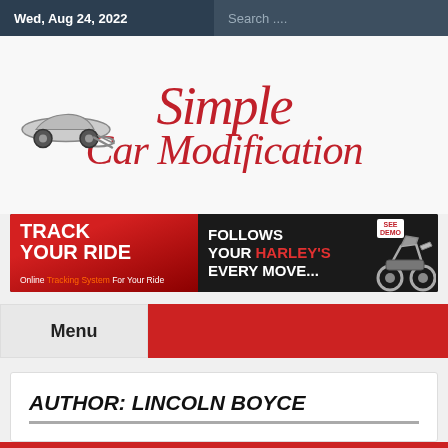Wed, Aug 24, 2022
Simple Car Modification
[Figure (infographic): Advertisement banner: Track Your Ride — Follows Your Harley's Every Move...]
Menu
AUTHOR: LINCOLN BOYCE